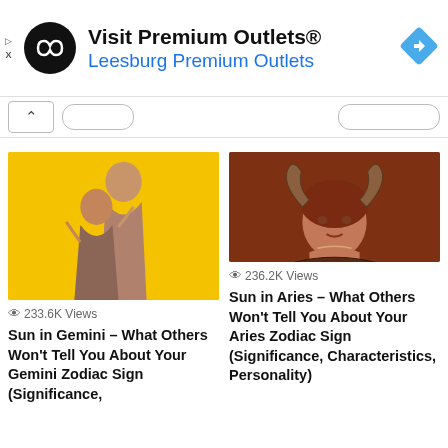[Figure (screenshot): Advertisement banner for Visit Premium Outlets / Leesburg Premium Outlets with black circular logo and blue navigation arrow icon]
Visit Premium Outlets®
Leesburg Premium Outlets
[Figure (photo): Two young women making peace signs on yellow background]
233.6K Views
Sun in Gemini – What Others Won't Tell You About Your Gemini Zodiac Sign (Significance,
[Figure (photo): Artistic painting of woman with ram horns symbolizing Aries zodiac sign]
236.2K Views
Sun in Aries – What Others Won't Tell You About Your Aries Zodiac Sign (Significance, Characteristics, Personality)